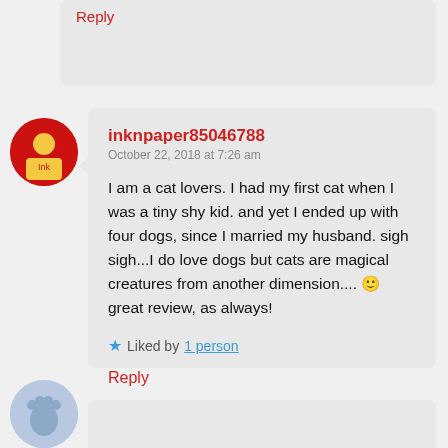Reply
inknpaper85046788
October 22, 2018 at 7:26 am
I am a cat lovers. I had my first cat when I was a tiny shy kid. and yet I ended up with four dogs, since I married my husband. sigh sigh...I do love dogs but cats are magical creatures from another dimension.... 🙂 great review, as always!
Liked by 1 person
Reply